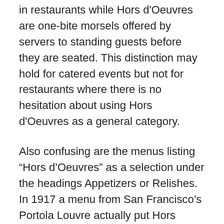in restaurants while Hors d'Oeuvres are one-bite morsels offered by servers to standing guests before they are seated. This distinction may hold for catered events but not for restaurants where there is no hesitation about using Hors d'Oeuvres as a general category.
Also confusing are the menus listing “Hors d’Oeuvres” as a selection under the headings Appetizers or Relishes. In 1917 a menu from San Francisco’s Portola Louvre actually put Hors d'Oeuvres under the heading Hors d'Oeuvres, along with caviar, sardines, celery, etc. Imagine a waiter asking, “Would you like some Hors d’Oeuvres for your Hors d’Oeuvres?
Until the 1960s and 1970s, the food items that were most commonly offered as beginnings to restaurant dinners were prepared simply and usually served cold. They have